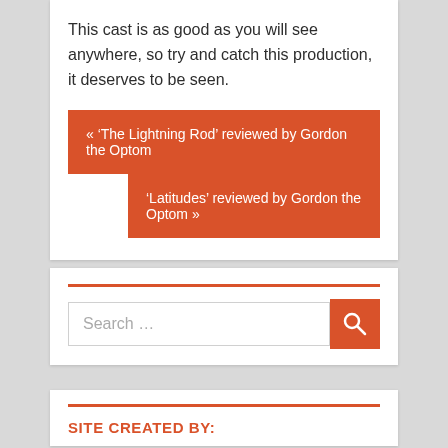This cast is as good as you will see anywhere, so try and catch this production, it deserves to be seen.
« ‘The Lightning Rod’ reviewed by Gordon the Optom
‘Latitudes’ reviewed by Gordon the Optom »
Search …
SITE CREATED BY: